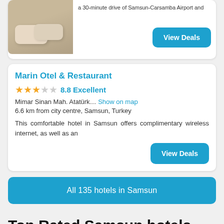[Figure (photo): Partial hotel room photo showing pillows on a bed, beige/tan tones, top of page]
a 30-minute drive of Samsun-Carsamba Airport and
View Deals
Marin Otel & Restaurant
★★★☆☆ 8.8 Excellent
Mimar Sinan Mah. Atatürk… Show on map
6.6 km from city centre, Samsun, Turkey
This comfortable hotel in Samsun offers complimentary wireless internet, as well as an
View Deals
All 135 hotels in Samsun
Top Rated Samsun hotels
Show all 135 hotels